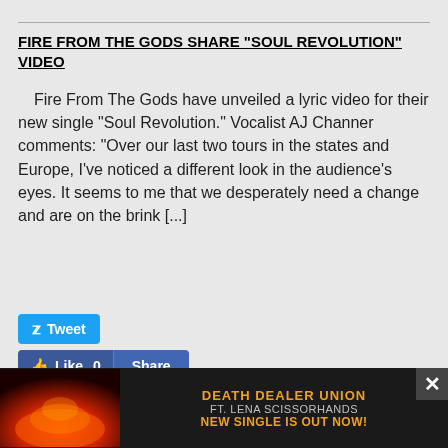FIRE FROM THE GODS SHARE “SOUL REVOLUTION” VIDEO
Fire From The Gods have unveiled a lyric video for their new single “Soul Revolution.”   Vocalist AJ Channer comments:  “Over our last two tours in the states and Europe, I've noticed a different look in the audience's eyes. It seems to me that we desperately need a change and are on the brink [...]
[Figure (screenshot): Social sharing buttons: Tweet button (blue, Twitter bird icon), Like 0 button and Share button (Facebook blue)]
WATCH: SYSTEM OF A DOWN’S SERJ TANKIAN AND JOHN DOLMAYAN PERFORM “AERIALS” W/ COVER BAND IN MEXICO
System of a Down’s Serj Tankian and John Dolmayan were seen performing the group’s classic “Aerials,” with a cover band Médium this past Friday (15th). The two were perfo... in San a...
[Figure (screenshot): Advertisement banner: Death Dealer Union ft. Lena Scissorhands - New Single Is Out Now! with fiery background image and close button]